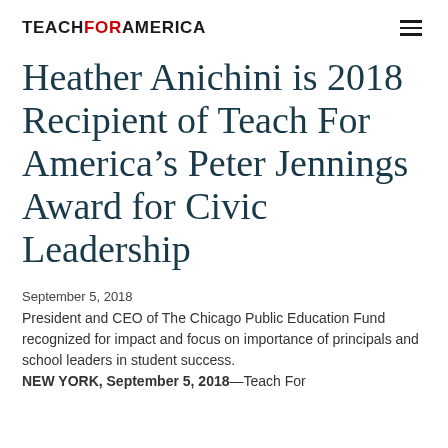TEACH FOR AMERICA
Heather Anichini is 2018 Recipient of Teach For America’s Peter Jennings Award for Civic Leadership
September 5, 2018
President and CEO of The Chicago Public Education Fund recognized for impact and focus on importance of principals and school leaders in student success.
NEW YORK, September 5, 2018—Teach For